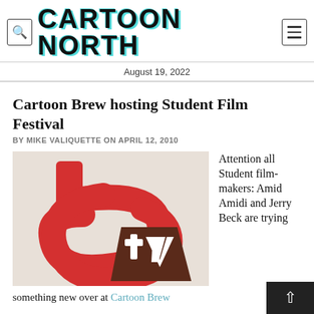CARTOON NORTH — August 19, 2022
Cartoon Brew hosting Student Film Festival
BY MIKE VALIQUETTE ON APRIL 12, 2010
[Figure (logo): Cartoon Brew TV logo — red stylized 'b' and 'c' letters with a brown trapezoid shape containing white 'tv' text]
Attention all Student film-makers: Amid Amidi and Jerry Beck are trying something new over at Cartoon Brew.